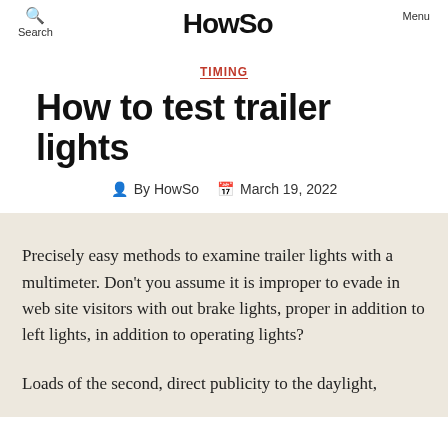Search | HowSo | Menu
TIMING
How to test trailer lights
By HowSo   March 19, 2022
Precisely easy methods to examine trailer lights with a multimeter. Don't you assume it is improper to evade in web site visitors with out brake lights, proper in addition to left lights, in addition to operating lights?
Loads of the second, direct publicity to the daylight,